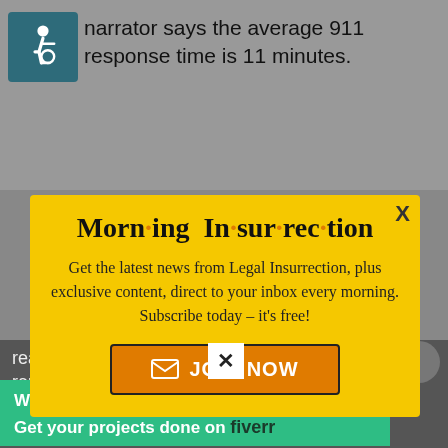[Figure (screenshot): Wheelchair accessibility icon in teal/dark cyan square]
narrator says the average 911 response time is 11 minutes.
[Figure (infographic): Yellow modal popup for Morning Insurrection newsletter subscription with orange JOIN NOW button]
reason for owning guns in 2015, The Trace rep... pro... despite drops in violent crime over recent
[Figure (screenshot): Green Fiverr banner advertisement: Working from home? Get your projects done on fiverr]